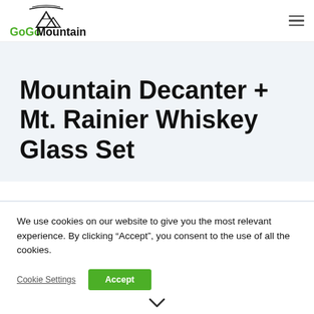GoGoMountain
Mountain Decanter + Mt. Rainier Whiskey Glass Set
We use cookies on our website to give you the most relevant experience. By clicking “Accept”, you consent to the use of all the cookies.